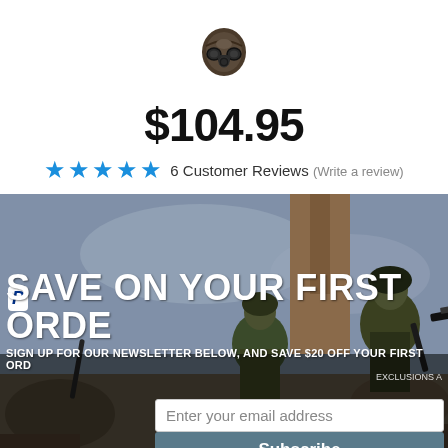[Figure (illustration): Gas mask product icon image]
$104.95
★★★★★ 6 Customer Reviews (Write a review)
[Figure (photo): Military soldiers in camouflage gear with rifles, used as promotional banner background]
SAVE ON YOUR FIRST ORDER
SIGN UP FOR OUR NEWSLETTER BELOW, AND SAVE $20 OFF YOUR FIRST ORD... EXCLUSIONS A
Enter your email address
Subscribe